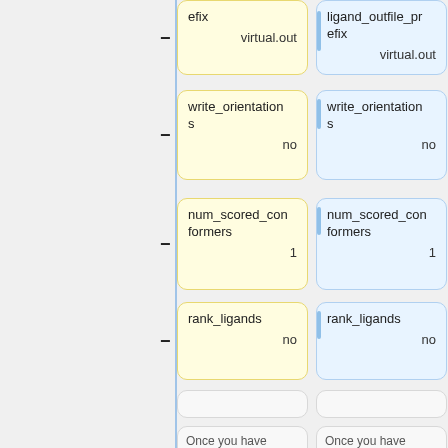[Figure (other): Yellow card showing parameter 'efix' with value 'virtual.out', minus button on left]
[Figure (other): Blue card showing parameter 'ligand_outfile_prefix' with value 'virtual.out', plus button on right]
[Figure (other): Yellow card showing parameter 'write_orientations' with value 'no', minus button on left]
[Figure (other): Blue card showing parameter 'write_orientations' with value 'no', plus button on right]
[Figure (other): Yellow card showing parameter 'num_scored_conformers' with value '1', minus button on left]
[Figure (other): Blue card showing parameter 'num_scored_conformers' with value '1', plus button on right]
[Figure (other): Yellow card showing parameter 'rank_ligands' with value 'no', minus button on left]
[Figure (other): Blue card showing parameter 'rank_ligands' with value 'no', plus button on right]
[Figure (other): Empty gray card left]
[Figure (other): Empty gray card right]
Once you have finished doing that, save and exit the file. Now
Once you have finished doing that, save and exit the file. Now